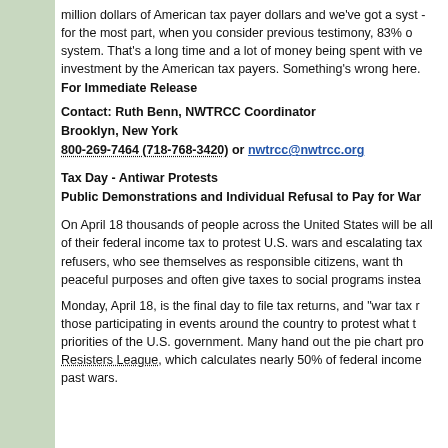million dollars of American tax payer dollars and we've got a syst - for the most part, when you consider previous testimony, 83% o system. That's a long time and a lot of money being spent with ve investment by the American tax payers. Something's wrong here. For Immediate Release
Contact: Ruth Benn, NWTRCC Coordinator
Brooklyn, New York
800-269-7464 (718-768-3420) or nwtrcc@nwtrcc.org
Tax Day - Antiwar Protests
Public Demonstrations and Individual Refusal to Pay for War
On April 18 thousands of people across the United States will be all of their federal income tax to protest U.S. wars and escalating tax refusers, who see themselves as responsible citizens, want th peaceful purposes and often give taxes to social programs instea
Monday, April 18, is the final day to file tax returns, and "war tax r those participating in events around the country to protest what t priorities of the U.S. government. Many hand out the pie chart pro Resisters League, which calculates nearly 50% of federal income past wars.